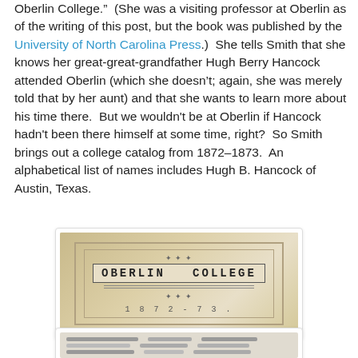Oberlin College."  (She was a visiting professor at Oberlin as of the writing of this post, but the book was published by the University of North Carolina Press.)  She tells Smith that she knows her great-great-grandfather Hugh Berry Hancock attended Oberlin (which she doesn't; again, she was merely told that by her aunt) and that she wants to learn more about his time there.  But we wouldn't be at Oberlin if Hancock hadn't been there himself at some time, right?  So Smith brings out a college catalog from 1872–1873.  An alphabetical list of names includes Hugh B. Hancock of Austin, Texas.
[Figure (photo): Photograph of the cover of an Oberlin College catalog from 1872-73, showing the college name in large serif type with decorative elements and the year below.]
[Figure (photo): Partial photograph of an interior page of the Oberlin College catalog, showing columns of printed text with names and locations.]